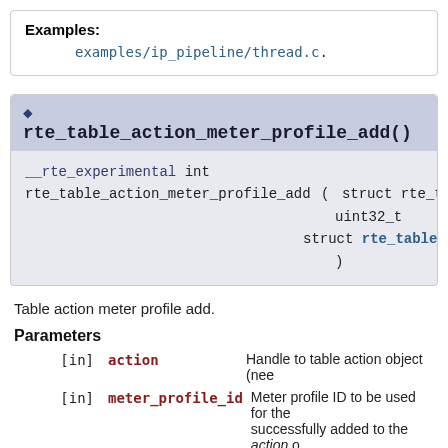Examples: examples/ip_pipeline/thread.c.
rte_table_action_meter_profile_add()
__rte_experimental int rte_table_action_meter_profile_add ( struct rte_table_action * , uint32_t , struct rte_table_action_meter_ , )
Table action meter profile add.
Parameters
[in] action Handle to table action object (nee
[in] meter_profile_id Meter profile ID to be used for the successfully added to the action o unused by the sot of meter profil